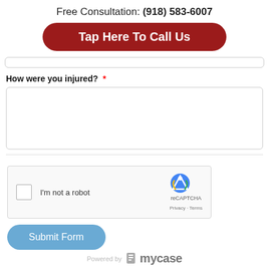Free Consultation: (918) 583-6007
Tap Here To Call Us
How were you injured? *
[Figure (screenshot): reCAPTCHA widget with checkbox and 'I'm not a robot' text, Privacy and Terms links]
Submit Form
Powered by mycase